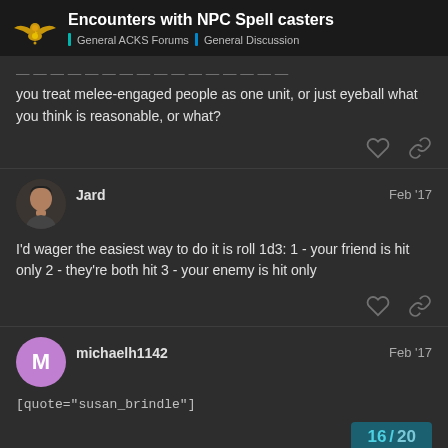Encounters with NPC Spell casters — General ACKS Forums > General Discussion
you treat melee-engaged people as one unit, or just eyeball what you think is reasonable, or what?
Jard  Feb '17
I'd wager the easiest way to do it is roll 1d3: 1 - your friend is hit only 2 - they're both hit 3 - your enemy is hit only
michaelh1142  Feb '17
[quote="susan_brindle"]
16 / 20